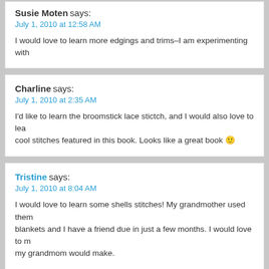Susie Moten says:
July 1, 2010 at 12:58 AM
I would love to learn more edgings and trims–I am experimenting with
Charline says:
July 1, 2010 at 2:35 AM
I'd like to learn the broomstick lace stictch, and I would also love to lea... cool stitches featured in this book. Looks like a great book 🙂
Tristine says:
July 1, 2010 at 8:04 AM
I would love to learn some shells stitches! My grandmother used them... blankets and I have a friend due in just a few months. I would love to r... my grandmom would make.